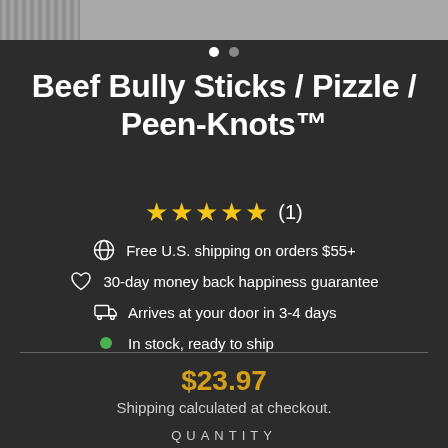[Figure (photo): Top image banner showing product images partially visible at the top of the page]
Beef Bully Sticks / Pizzle / Peen-Knots™
★★★★★ (1)
Free U.S. shipping on orders $55+
30-day money back happiness guarantee
Arrives at your door in 3-4 days
In stock, ready to ship
$23.97
Shipping calculated at checkout.
QUANTITY